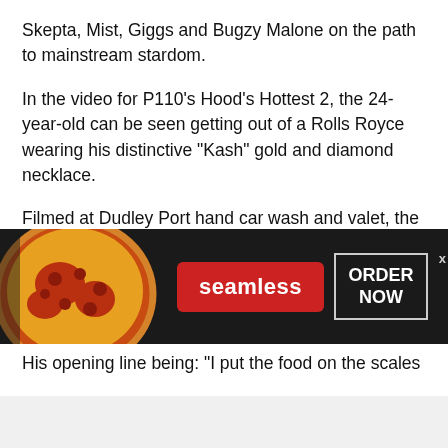Skepta, Mist, Giggs and Bugzy Malone on the path to mainstream stardom.
In the video for P110’s Hood’s Hottest 2, the 24-year-old can be seen getting out of a Rolls Royce wearing his distinctive “Kash” gold and diamond necklace.
Filmed at Dudley Port hand car wash and valet, the video featured a luxury BMW, Mercedes and expensive quad bikes. Surrounded by masked men drinking brandy Kash immediately boasts about his burgeoning drug empire.
His opening line being: “I put the food on the scales
[Figure (screenshot): Seamless food delivery advertisement banner with pizza image on left, red Seamless logo button in center, and ORDER NOW button with border on right, on dark background]